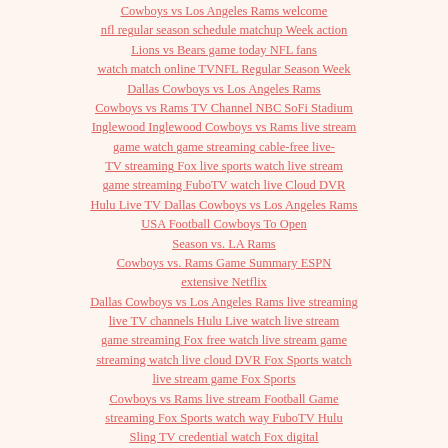Cowboys vs Los Angeles Rams welcome nfl regular season schedule matchup Week action Lions vs Bears game today NFL fans watch match online TVNFL Regular Season Week Dallas Cowboys vs Los Angeles Rams Cowboys vs Rams TV Channel NBC SoFi Stadium Inglewood Inglewood Cowboys vs Rams live stream game watch game streaming cable-free live-TV streaming Fox live sports watch live stream game streaming FuboTV watch live Cloud DVR Hulu Live TV Dallas Cowboys vs Los Angeles Rams USA Football Cowboys To Open Season vs. LA Rams Cowboys vs. Rams Game Summary ESPN extensive Netflix Dallas Cowboys vs Los Angeles Rams live streaming live TV channels Hulu Live watch live stream game streaming Fox free watch live stream game streaming watch live cloud DVR Fox Sports watch live stream game Fox Sports Cowboys vs Rams live stream Football Game streaming Fox Sports watch way FuboTV Hulu Sling TV credential watch Fox digital Watch NFL Streaming prime-time game watch NFL watch live stream online live satellite watch games watch games NFL Cowboys vs Rams live watch streaming NFL free Watch on-Demand Cowboys vs Rams NFL Game Pass fine watching games on-demand NFL Game Pass Domestic watch NFL game season live games watch conclusion games watch games Dallas Cowboys vs Los Angeles Rams NFL Game streaming device NFL Mobile app handful different devices United States News about Dallas Cowboys Vs Los Angeles Rams Rams likely to wear new bone uniform vs. Cowboys in Week 1 Dallas Cowboys vs Los Angeles Rams